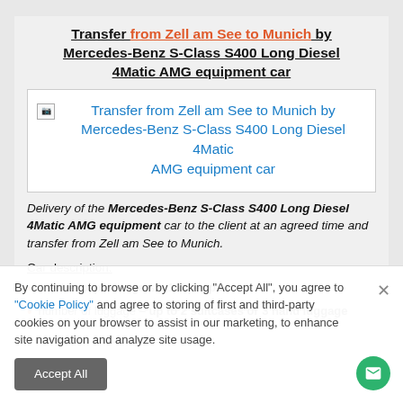Transfer from Zell am See to Munich by Mercedes-Benz S-Class S400 Long Diesel 4Matic AMG equipment car
[Figure (photo): Broken image placeholder with alt text: Transfer from Zell am See to Munich by Mercedes-Benz S-Class S400 Long Diesel 4Matic AMG equipment car]
Delivery of the Mercedes-Benz S-Class S400 Long Diesel 4Matic AMG equipment car to the client at an agreed time and transfer from Zell am See to Munich.
Car description:
number of passengers – 1-4 people
number of luggage – up to 2 suitcases or 3 hand luggage
By continuing to browse or by clicking "Accept All", you agree to "Cookie Policy" and agree to storing of first and third-party cookies on your browser to assist in our marketing, to enhance site navigation and analyze site usage.